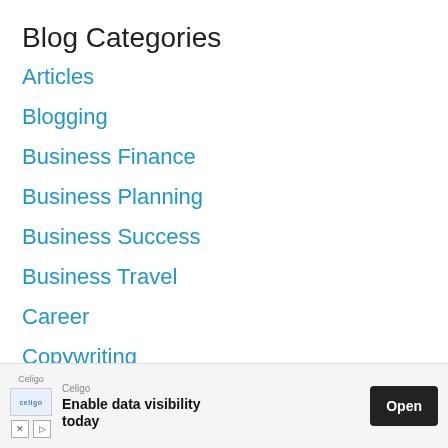Blog Categories
Articles
Blogging
Business Finance
Business Planning
Business Success
Business Travel
Career
Copywriting
Education
[Figure (other): Advertisement banner: Celigo - Enable data visibility today, with Open button]